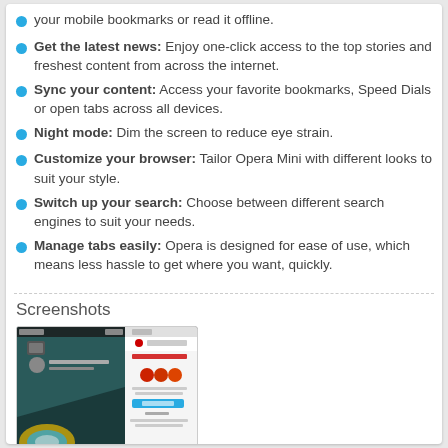your mobile bookmarks or read it offline.
Get the latest news: Enjoy one-click access to the top stories and freshest content from across the internet.
Sync your content: Access your favorite bookmarks, Speed Dials or open tabs across all devices.
Night mode: Dim the screen to reduce eye strain.
Customize your browser: Tailor Opera Mini with different looks to suit your style.
Switch up your search: Choose between different search engines to suit your needs.
Manage tabs easily: Opera is designed for ease of use, which means less hassle to get where you want, quickly.
Screenshots
[Figure (screenshot): Screenshot of Opera Mini browser showing Sync with Opera screen on an Android device]